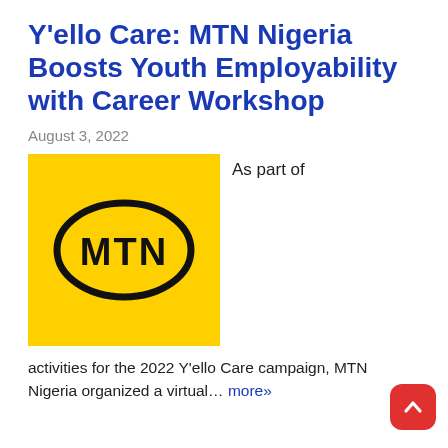Y’ello Care: MTN Nigeria Boosts Youth Employability with Career Workshop
August 3, 2022
[Figure (logo): MTN yellow square logo with black oval containing bold text MTN]
As part of activities for the 2022 Y’ello Care campaign, MTN Nigeria organized a virtual… more»